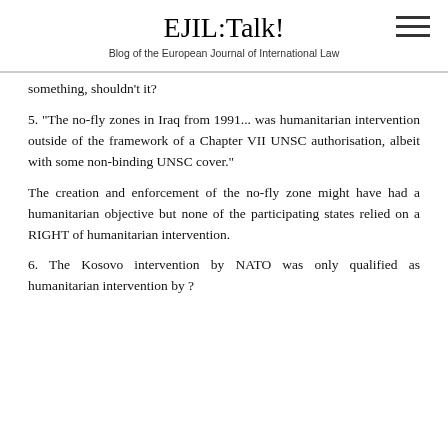EJIL:Talk!
Blog of the European Journal of International Law
something, shouldn't it?
5. "The no-fly zones in Iraq from 1991... was humanitarian intervention outside of the framework of a Chapter VII UNSC authorisation, albeit with some non-binding UNSC cover."
The creation and enforcement of the no-fly zone might have had a humanitarian objective but none of the participating states relied on a RIGHT of humanitarian intervention.
6. The Kosovo intervention by NATO was only qualified as humanitarian intervention by ?